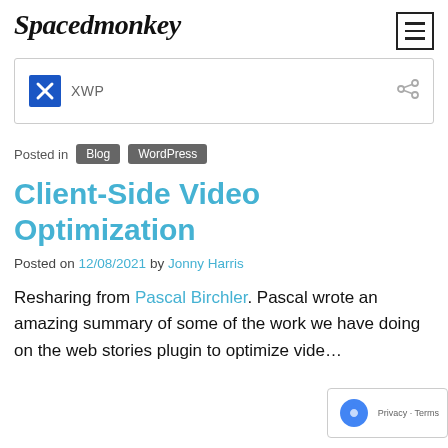Spacedmonkey
[Figure (logo): XWP logo in blue square with white X, followed by text XWP and share icon]
Posted in Blog WordPress
Client-Side Video Optimization
Posted on 12/08/2021 by Jonny Harris
Resharing from Pascal Birchler. Pascal wrote an amazing summary of some of the work we have doing on the web stories plugin to optimize vide...